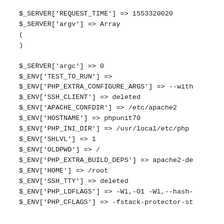$_SERVER['REQUEST_TIME'] => 1553320020
$_SERVER['argv'] => Array
(
)

$_SERVER['argc'] => 0
$_ENV['TEST_TO_RUN'] =>
$_ENV['PHP_EXTRA_CONFIGURE_ARGS'] => --with
$_ENV['SSH_CLIENT'] => deleted
$_ENV['APACHE_CONFDIR'] => /etc/apache2
$_ENV['HOSTNAME'] => phpunit70
$_ENV['PHP_INI_DIR'] => /usr/local/etc/php
$_ENV['SHLVL'] => 1
$_ENV['OLDPWD'] => /
$_ENV['PHP_EXTRA_BUILD_DEPS'] => apache2-de
$_ENV['HOME'] => /root
$_ENV['SSH_TTY'] => deleted
$_ENV['PHP_LDFLAGS'] => -Wl,-O1 -Wl,--hash-
$_ENV['PHP_CFLAGS'] => -fstack-protector-st